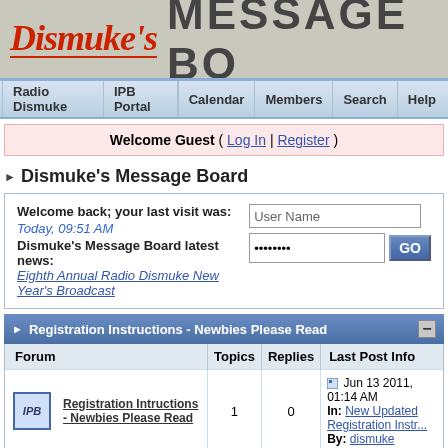[Figure (logo): Dismuke's Message Board banner with red cursive logo and bold gray title text]
Radio Dismuke | IPB Portal | Calendar | Members | Search | Help
Welcome Guest ( Log In | Register )
Dismuke's Message Board
Welcome back; your last visit was: Today, 09:51 AM
Dismuke's Message Board latest news:
Eighth Annual Radio Dismuke New Year's Broadcast
Registration Instructions - Newbies Please Read
| Forum | Topics | Replies | Last Post Info |
| --- | --- | --- | --- |
| Registration Intructions - Newbies Please Read | 1 | 0 | Jun 13 2011, 01:14 AM
In: New Updated Registration Instr...
By: dismuke |